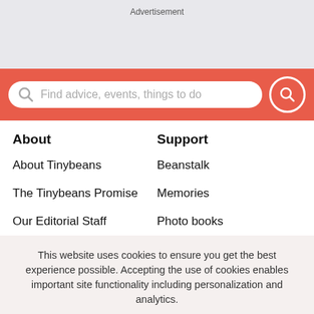Advertisement
[Figure (other): Search bar with coral/red background and search input: 'Find advice, events, things to do']
About
About Tinybeans
The Tinybeans Promise
Our Editorial Staff
Support
Beanstalk
Memories
Photo books
This website uses cookies to ensure you get the best experience possible. Accepting the use of cookies enables important site functionality including personalization and analytics.
Accept
Decline